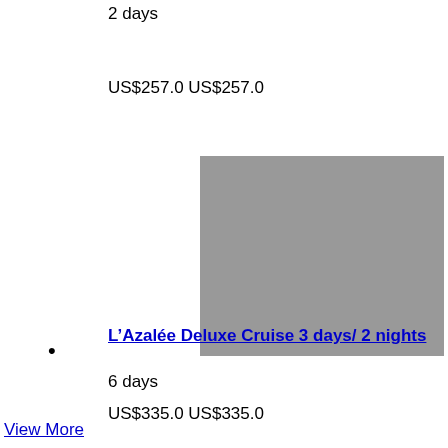2 days
US$257.0 US$257.0
[Figure (photo): Grey placeholder image for a cruise or travel listing]
L’Azélée Deluxe Cruise 3 days/ 2 nights
6 days
US$335.0 US$335.0
View More